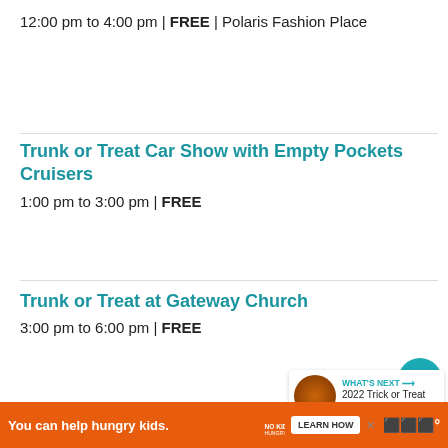12:00 pm to 4:00 pm | FREE | Polaris Fashion Place
Trunk or Treat Car Show with Empty Pockets Cruisers
1:00 pm to 3:00 pm | FREE
Trunk or Treat at Gateway Church
3:00 pm to 6:00 pm | FREE
[Figure (screenshot): Advertisement banner for Operation Gratitude: SAY THANK YOU TO DEPLOYED TROOPS]
[Figure (infographic): What's Next panel showing 2022 Trick or Treat in...]
[Figure (infographic): Bottom advertisement: You can help hungry kids. No Kid Hungry. LEARN HOW]